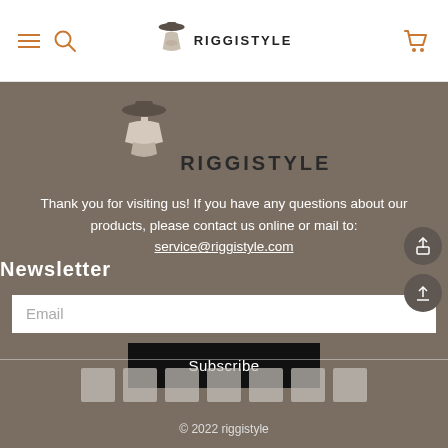RIGGISTYLE navigation header with hamburger menu, search icon, logo, and cart icon
[Figure (logo): Riggistyle logo with stylized female figure and RIGGISTYLE text]
Thank you for visiting us! If you have any questions about our products, please contact us online or mail to: service@riggistyle.com
Newsletter
Email
Subscribe
[Figure (other): Seven social media icon boxes in a row]
© 2022 riggistyle